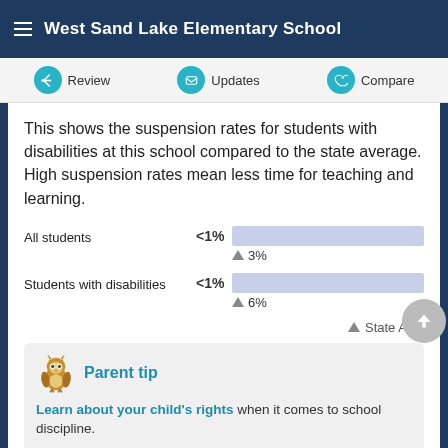West Sand Lake Elementary School
This shows the suspension rates for students with disabilities at this school compared to the state average. High suspension rates mean less time for teaching and learning.
[Figure (bar-chart): Suspension rates]
Parent tip
Learn about your child's rights when it comes to school discipline.